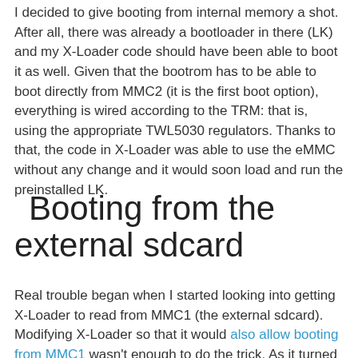I decided to give booting from internal memory a shot. After all, there was already a bootloader in there (LK) and my X-Loader code should have been able to boot it as well. Given that the bootrom has to be able to boot directly from MMC2 (it is the first boot option), everything is wired according to the TRM: that is, using the appropriate TWL5030 regulators. Thanks to that, the code in X-Loader was able to use the eMMC without any change and it would soon load and run the preinstalled LK.
Booting from the external sdcard
Real trouble began when I started looking into getting X-Loader to read from MMC1 (the external sdcard). Modifying X-Loader so that it would also allow booting from MMC1 wasn't enough to do the trick. As it turned out, MMC1 is powered by an external PMIC, the LP8720: one